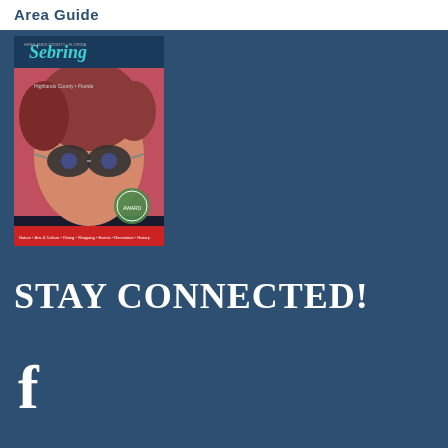Area Guide
[Figure (photo): Magazine cover of Sebring area guide showing a young woman with sunglasses and stylized text reading 'Sebring Highlands County Florida']
STAY CONNECTED!
[Figure (logo): Facebook logo icon (lowercase f) in white]